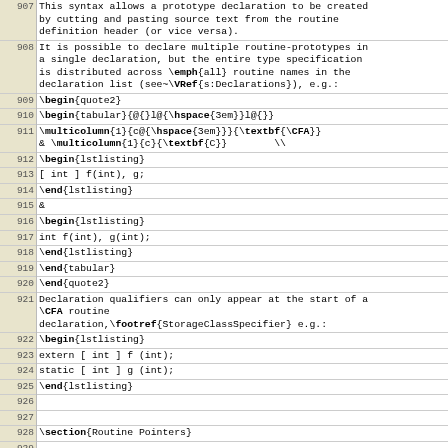| line | content |
| --- | --- |
| 907 | This syntax allows a prototype declaration to be created
by cutting and pasting source text from the routine
definition header (or vice versa). |
| 908 | It is possible to declare multiple routine-prototypes in
a single declaration, but the entire type specification
is distributed across \emph{all} routine names in the
declaration list (see~\VRef{s:Declarations}), e.g.: |
| 909 | \begin{quote2} |
| 910 | \begin{tabular}{@{}l@{\hspace{3em}}l@{}} |
| 911 | \multicolumn{1}{c@{\hspace{3em}}}{\textbf{\CFA}}
& \multicolumn{1}{c}{\textbf{C}}        \\ |
| 912 | \begin{lstlisting} |
| 913 | [ int ] f(int), g; |
| 914 | \end{lstlisting} |
| 915 | & |
| 916 | \begin{lstlisting} |
| 917 | int f(int), g(int); |
| 918 | \end{lstlisting} |
| 919 | \end{tabular} |
| 920 | \end{quote2} |
| 921 | Declaration qualifiers can only appear at the start of a
\CFA routine
declaration,\footref{StorageClassSpecifier} e.g.: |
| 922 | \begin{lstlisting} |
| 923 | extern [ int ] f (int); |
| 924 | static [ int ] g (int); |
| 925 | \end{lstlisting} |
| 926 |  |
| 927 |  |
| 928 | \section{Routine Pointers} |
| 929 |  |
| 930 | The syntax for pointers to \CFA routines specifies the
pointer name on the right, e.g.: |
| 931 | \begin{lstlisting} |